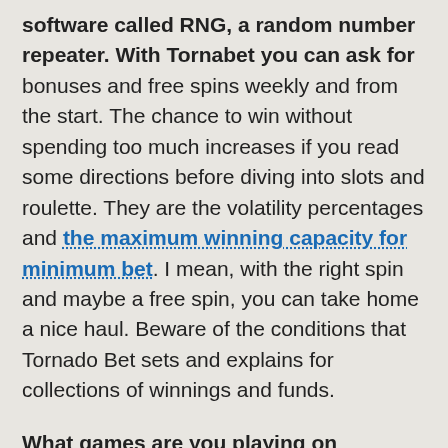software called RNG, a random number repeater. With Tornabet you can ask for bonuses and free spins weekly and from the start. The chance to win without spending too much increases if you read some directions before diving into slots and roulette. They are the volatility percentages and the maximum winning capacity for minimum bet. I mean, with the right spin and maybe a free spin, you can take home a nice haul. Beware of the conditions that Tornado Bet sets and explains for collections of winnings and funds.
What games are you playing on Tornabet? Starting from non-live casino you will find these categories: table, slot, other games, classic slots, Greek, special isoft.
From the preview images of the games you see a well-